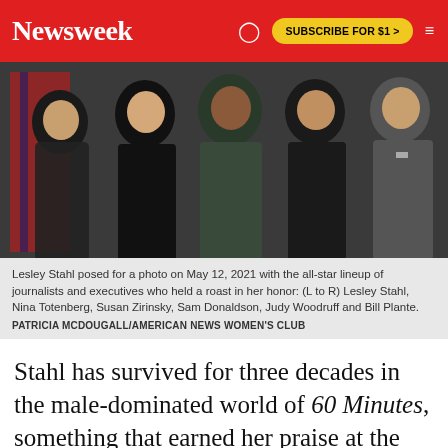Newsweek | SUBSCRIBE FOR $1 >
[Figure (photo): Group photo of journalists and executives at a roast event on May 12, 2021. Several people standing together in formal attire.]
Lesley Stahl posed for a photo on May 12, 2021 with the all-star lineup of journalists and executives who held a roast in her honor: (L to R) Lesley Stahl, Nina Totenberg, Susan Zirinsky, Sam Donaldson, Judy Woodruff and Bill Plante.
PATRICIA MCDOUGALL/AMERICAN NEWS WOMEN'S CLUB
Stahl has survived for three decades in the male-dominated world of 60 Minutes, something that earned her praise at the May 12 roast from former CBS News president